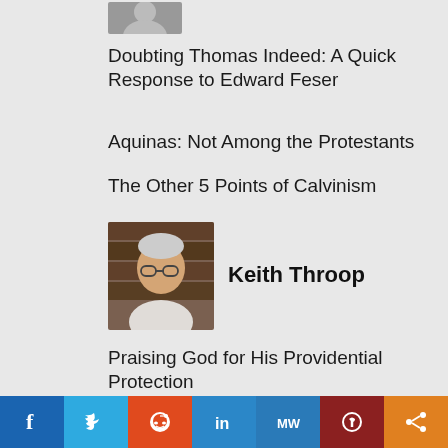[Figure (photo): Author headshot thumbnail at top of page]
Doubting Thomas Indeed: A Quick Response to Edward Feser
Aquinas: Not Among the Protestants
The Other 5 Points of Calvinism
[Figure (photo): Photo of Keith Throop]
Keith Throop
Praising God for His Providential Protection
Let God Speak: Hermeneutics by James White
Reformed Thomists?
[Figure (infographic): Social sharing bar with Facebook, Twitter, Reddit, LinkedIn, MeWe, Parler, Share buttons]